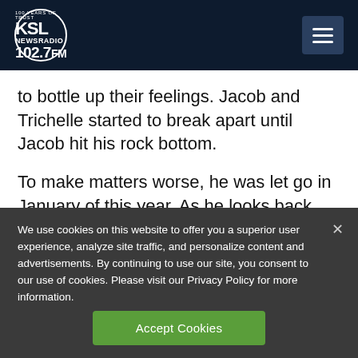[Figure (logo): KSL NewsRadio 102.7FM logo with circle and tagline '100 Years of Trust']
to bottle up their feelings. Jacob and Trichelle started to break apart until Jacob hit his rock bottom.

To make matters worse, he was let go in January of this year. As he looks back now
We use cookies on this website to offer you a superior user experience, analyze site traffic, and personalize content and advertisements. By continuing to use our site, you consent to our use of cookies. Please visit our Privacy Policy for more information.
Accept Cookies